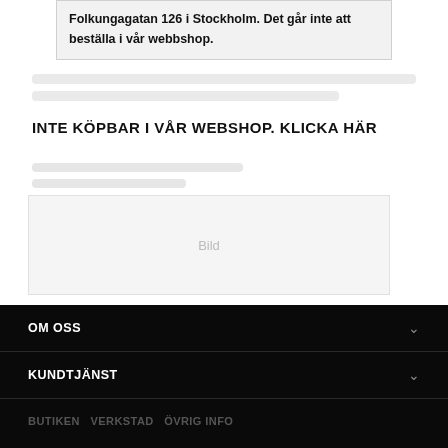Folkungagatan 126 i Stockholm. Det går inte att beställa i vår webbshop.
INTE KÖPBAR I VÅR WEBSHOP. KLICKA HÄR
[Figure (other): Blurred/redacted image placeholder]
OM OSS  KUNDTJÄNST  BUTIKEN  VERKSTAD  ÖVRIG INFO